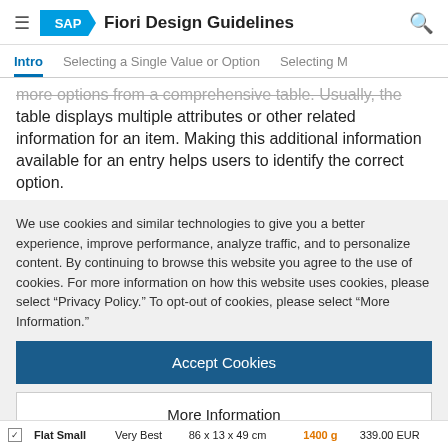SAP Fiori Design Guidelines
Intro | Selecting a Single Value or Option | Selecting M
more options from a comprehensive table. Usually, the table displays multiple attributes or other related information for an item. Making this additional information available for an entry helps users to identify the correct option.
We use cookies and similar technologies to give you a better experience, improve performance, analyze traffic, and to personalize content. By continuing to browse this website you agree to the use of cookies. For more information on how this website uses cookies, please select "Privacy Policy." To opt-out of cookies, please select "More Information."
Accept Cookies
More Information
Privacy Policy | Powered by: TrustArc
|  | Name | Quality | Size | Weight | Price |
| --- | --- | --- | --- | --- | --- |
| ✓ | Flat Small | Very Best | 86 x 13 x 49 cm | 1400 g | 339.00 EUR |